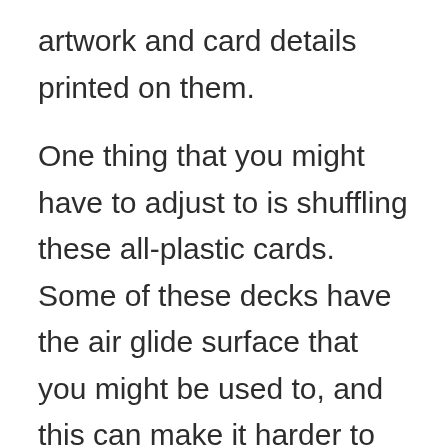artwork and card details printed on them.

One thing that you might have to adjust to is shuffling these all-plastic cards. Some of these decks have the air glide surface that you might be used to, and this can make it harder to get the cards to do what you are wanting them to.

Having a quality, waterproof, all-plastic set of playing cards is a great addition to your game library. This is especially